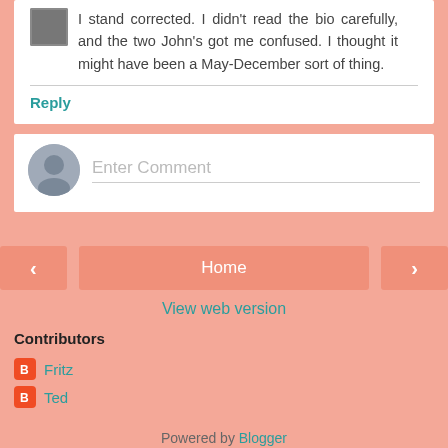I stand corrected. I didn't read the bio carefully, and the two John's got me confused. I thought it might have been a May-December sort of thing.
Reply
Enter Comment
Home
View web version
Contributors
Fritz
Ted
Powered by Blogger